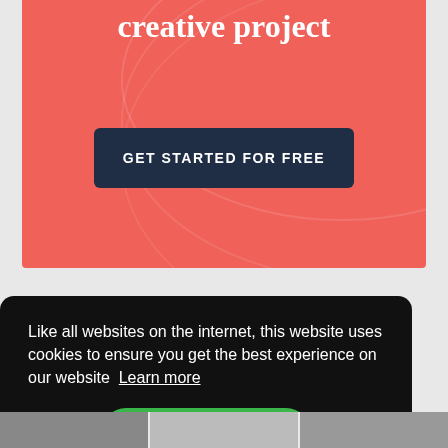[Figure (screenshot): Pink/coral banner section with white bold text 'creative project' and a dark navy CTA button reading 'GET STARTED FOR FREE']
Like all websites on the internet, this website uses cookies to ensure you get the best experience on our website  Learn more
Accept